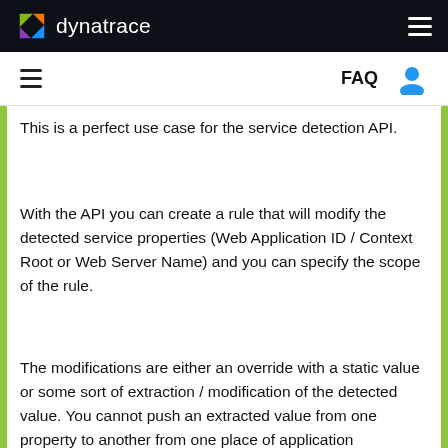dynatrace
This is a perfect use case for the service detection API.
With the API you can create a rule that will modify the detected service properties (Web Application ID / Context Root or Web Server Name) and you can specify the scope of the rule.
The modifications are either an override with a static value or some sort of extraction / modification of the detected value. You cannot push an extracted value from one property to another from one place of application